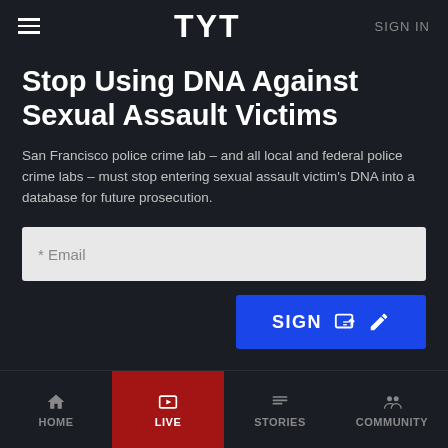TYT — SIGN IN
Stop Using DNA Against Sexual Assault Victims
San Francisco police crime lab – and all local and federal police crime labs – must stop entering sexual assault victim's DNA into a database for future prosecution.
* Email (input field)
SIGN (button)
Updates
HOME | LIVE | STORIES | COMMUNITY